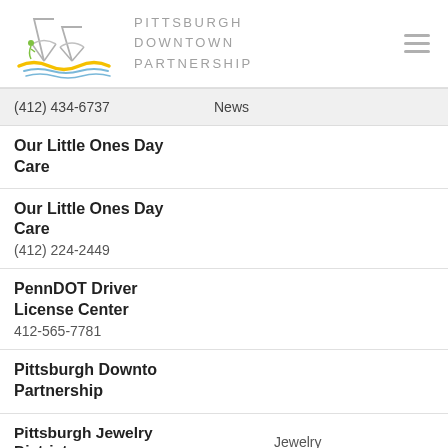[Figure (logo): Pittsburgh Downtown Partnership logo with bridge/mountain illustration and yellow/blue wave lines]
(412) 434-6737    News
Our Little Ones Day Care
Our Little Ones Day Care
(412) 224-2449
PennDOT Driver License Center
412-565-7781
Pittsburgh Downtown Partnership
Pittsburgh Jewelry District    Jewelry
[Figure (screenshot): Feedback popup: 'Help us improve by sharing your feedback.' with close X button and green chat icon]